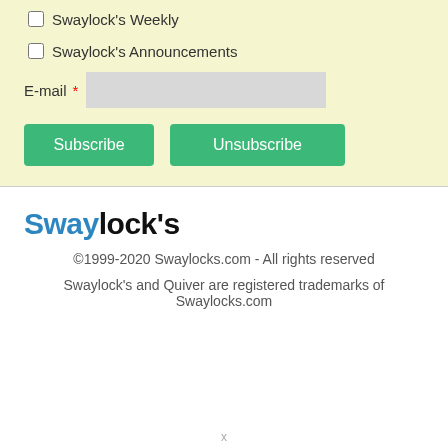Swaylock's Weekly
Swaylock's Announcements
E-mail *
Subscribe  Unsubscribe
Swaylock's
©1999-2020 Swaylocks.com - All rights reserved
Swaylock's and Quiver are registered trademarks of Swaylocks.com
x